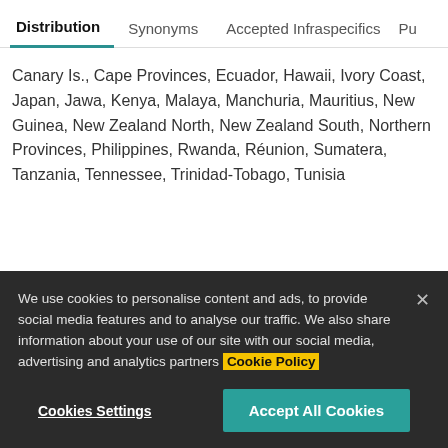Distribution | Synonyms | Accepted Infraspecifics | Pu
Canary Is., Cape Provinces, Ecuador, Hawaii, Ivory Coast, Japan, Jawa, Kenya, Malaya, Manchuria, Mauritius, New Guinea, New Zealand North, New Zealand South, Northern Provinces, Philippines, Rwanda, Réunion, Sumatera, Tanzania, Tennessee, Trinidad-Tobago, Tunisia
We use cookies to personalise content and ads, to provide social media features and to analyse our traffic. We also share information about your use of our site with our social media, advertising and analytics partners Cookie Policy
Cookies Settings
Accept All Cookies